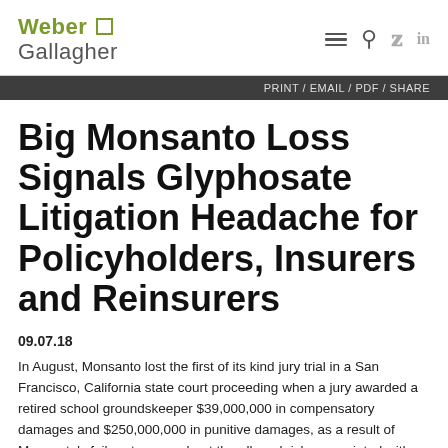Weber Gallagher
Big Monsanto Loss Signals Glyphosate Litigation Headache for Policyholders, Insurers and Reinsurers
09.07.18
In August, Monsanto lost the first of its kind jury trial in a San Francisco, California state court proceeding when a jury awarded a retired school groundskeeper $39,000,000 in compensatory damages and $250,000,000 in punitive damages, as a result of Monsanto's failure to warn about the alleged risks associated with